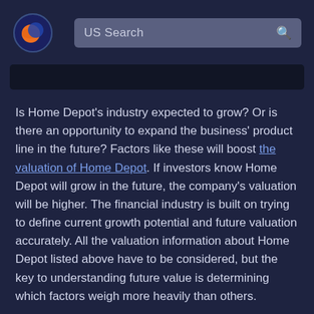US Search
Is Home Depot's industry expected to grow? Or is there an opportunity to expand the business' product line in the future? Factors like these will boost the valuation of Home Depot. If investors know Home Depot will grow in the future, the company's valuation will be higher. The financial industry is built on trying to define current growth potential and future valuation accurately. All the valuation information about Home Depot listed above have to be considered, but the key to understanding future value is determining which factors weigh more heavily than others.